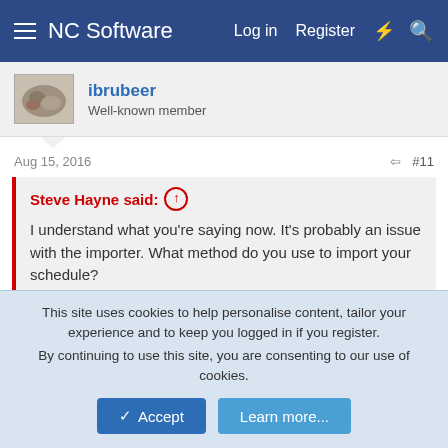NC Software  Log in  Register
ibrubeer
Well-known member
Aug 15, 2016  #11
Steve Hayne said: ↑
I understand what you're saying now. It's probably an issue with the importer. What method do you use to import your schedule?
Sent from my SM-G925T using Tapatalk
I do the paste and process from the Calendar screen within APDL.
This site uses cookies to help personalise content, tailor your experience and to keep you logged in if you register.
By continuing to use this site, you are consenting to our use of cookies.